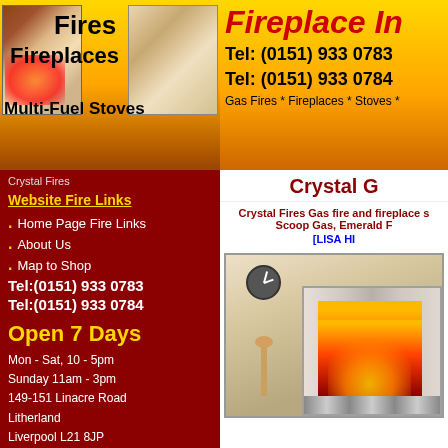[Figure (illustration): Header banner with yellow-orange gradient background showing Fires, Fireplaces, Multi-Fuel Stoves text and a fireplace photo]
Fireplace In
Tel: (0151) 933 0783
Tel: (0151) 933 0784
Gas Fires * Fireplaces * Stoves *
Crystal Fires
Website Fire Links
Home Page Fire Links
About Us
Map to Shop
Tel:(0151) 933 0783
Tel:(0151) 933 0784
Open 7 Days
Mon - Sat, 10 - 5pm
Sunday 11am - 3pm
149-151 Linacre Road
Litherland
Liverpool L21 8JP
. . . . . . . . . . . . . . . . . .
Search Website
Crystal G
Crystal Fires Gas fire and fireplace s Scoop Gas, Emerald F
[LISA HI
[Figure (photo): Photo of a fireplace with silver surround and glowing fire, with a clock and candle visible in the room]